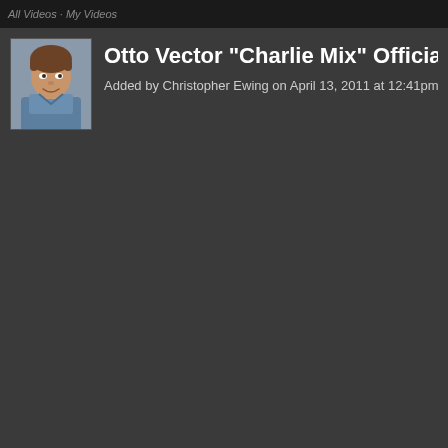All Videos · My Videos
Otto Vector "Charlie Mix" Official Music Vid
Added by Christopher Ewing on April 13, 2011 at 12:41pm
[Figure (photo): Profile photo of a young man wearing a blue shirt, smiling, headshot thumbnail]